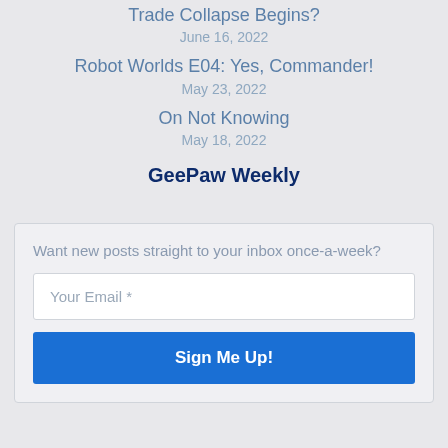Trade Collapse Begins?
June 16, 2022
Robot Worlds E04: Yes, Commander!
May 23, 2022
On Not Knowing
May 18, 2022
GeePaw Weekly
Want new posts straight to your inbox once-a-week?
Your Email *
Sign Me Up!